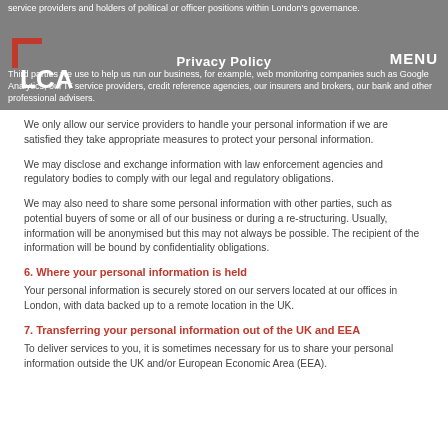service providers and holders of political or officer positions within London's governance.
Third parties we use to help us run our business, for example, web monitoring companies such as Google Analytics, our IT service providers, credit reference agencies, our insurers and brokers, our bank and other professional advisers.
We only allow our service providers to handle your personal information if we are satisfied they take appropriate measures to protect your personal information.
We may disclose and exchange information with law enforcement agencies and regulatory bodies to comply with our legal and regulatory obligations.
We may also need to share some personal information with other parties, such as potential buyers of some or all of our business or during a re-structuring. Usually, information will be anonymised but this may not always be possible. The recipient of the information will be bound by confidentiality obligations.
6. Where your personal information is held
Your personal information is securely stored on our servers located at our offices in London, with data backed up to a remote location in the UK.
7. Transferring your personal information out of the UK and EEA
To deliver services to you, it is sometimes necessary for us to share your personal information outside the UK and/or European Economic Area (EEA).